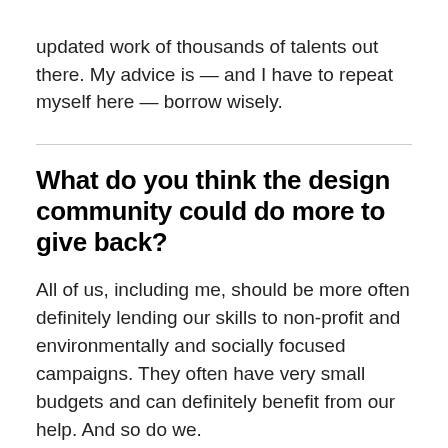updated work of thousands of talents out there. My advice is — and I have to repeat myself here — borrow wisely.
What do you think the design community could do more to give back?
All of us, including me, should be more often definitely lending our skills to non-profit and environmentally and socially focused campaigns. They often have very small budgets and can definitely benefit from our help. And so do we.